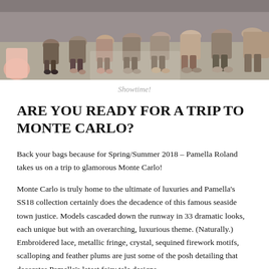[Figure (photo): Runway show photo showing seated audience members from the waist down along a runway, with a model in a pink dress visible at the far left edge.]
Showtime!
ARE YOU READY FOR A TRIP TO MONTE CARLO?
Back your bags because for Spring/Summer 2018 – Pamella Roland takes us on a trip to glamorous Monte Carlo!
Monte Carlo is truly home to the ultimate of luxuries and Pamella's SS18 collection certainly does the decadence of this famous seaside town justice. Models cascaded down the runway in 33 dramatic looks, each unique but with an overarching, luxurious theme. (Naturally.) Embroidered lace, metallic fringe, crystal, sequined firework motifs, scalloping and feather plums are just some of the posh detailing that decorates Pamella's latest fairy tale designs.
The silhouettes of the collection evolve with each look, weaving from streamlined Grace-Kelly lines to flowing rich fabrics and pleated tulle